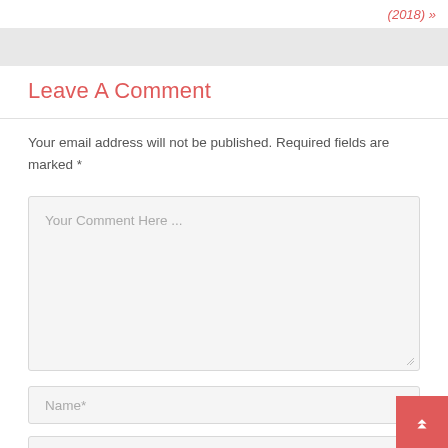(2018) »
Leave A Comment
Your email address will not be published. Required fields are marked *
[Figure (screenshot): Comment textarea form field with placeholder text 'Your Comment Here ...']
Name*
Email*